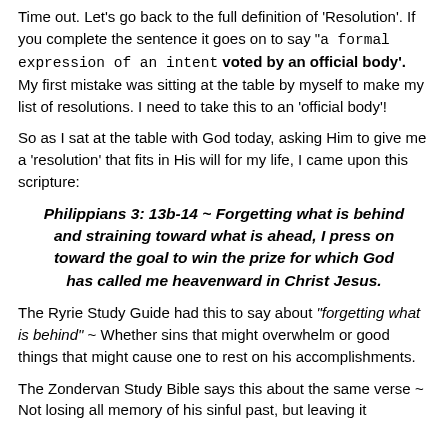Time out.  Let's go back to the full definition of 'Resolution'. If you complete the sentence it goes on to say "a formal expression of an intent voted by an official body'.  My first mistake was sitting at the table by myself to make my list of resolutions.  I need to take this to an 'official body'!
So as I sat at the table with God today, asking Him to give me a 'resolution' that fits in His will for my life, I came upon this scripture:
Philippians 3: 13b-14 ~ Forgetting what is behind and straining toward what is ahead, I press on toward the goal to win the prize for which God has called me heavenward in Christ Jesus.
The Ryrie Study Guide had this to say about "forgetting what is behind" ~ Whether sins that might overwhelm or good things that might cause one to rest on his accomplishments.
The Zondervan Study Bible says this about the same verse ~ Not losing all memory of his sinful past, but leaving it